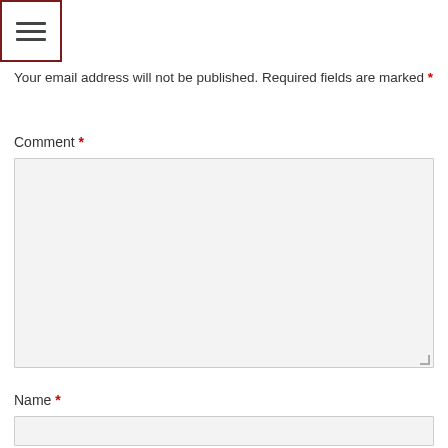[Figure (other): Hamburger menu icon button with three horizontal bars inside a red-bordered square box]
Your email address will not be published. Required fields are marked *
Comment *
[Figure (other): Empty comment textarea input box with resize handle]
Name *
[Figure (other): Empty name text input field]